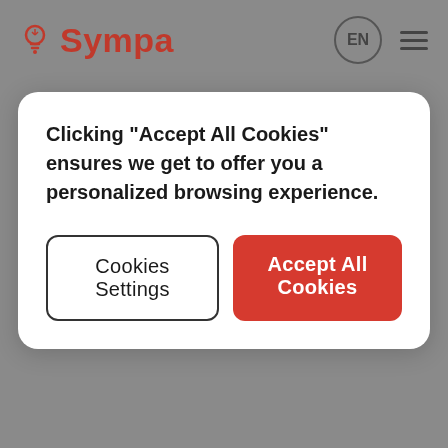[Figure (logo): Sympa logo with light bulb icon in dark red and the text 'Sympa' in bold dark red]
Clicking “Accept All Cookies” ensures we get to offer you a personalized browsing experience.
Cookies Settings
Accept All Cookies